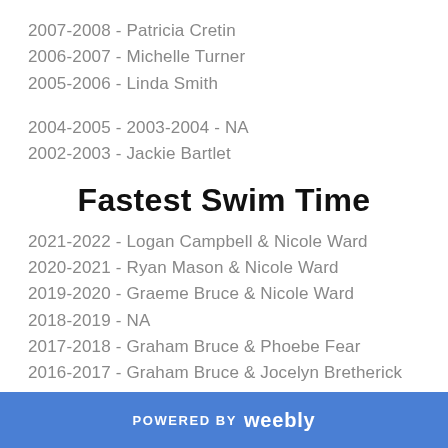2007-2008 - Patricia Cretin
2006-2007 - Michelle Turner
2005-2006 - Linda Smith
2004-2005 - 2003-2004 - NA
2002-2003 - Jackie Bartlet
Fastest Swim Time
2021-2022 - Logan Campbell & Nicole Ward
2020-2021 - Ryan Mason & Nicole Ward
2019-2020 - Graeme Bruce & Nicole Ward
2018-2019 - NA
2017-2018 - Graham Bruce & Phoebe Fear
2016-2017 - Graham Bruce & Jocelyn Bretherick
2015-2016 - Jake Stollery & Phoebe Savage
POWERED BY weebly